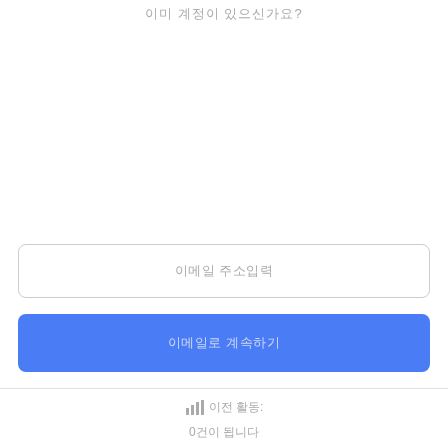이미 계정이 있으신가요?
이메일 주소입력
이메일로 계속하기
이전 활동:
0건이 됩니다